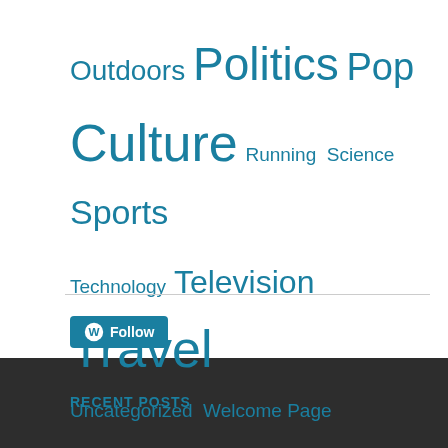[Figure (infographic): Tag cloud with category links in teal/blue color at various font sizes: Outdoors, Politics, Pop Culture, Running, Science, Sports, Technology, Television, Travel, Uncategorized, Welcome Page]
[Figure (other): WordPress Follow button with WP logo icon in teal/blue color]
RECENT POSTS